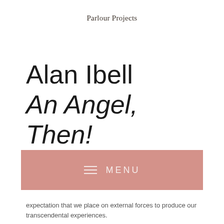Parlour Projects
Alan Ibell
An Angel, Then!
May 25 - June 29, 2019
[Figure (other): Pink/rose-colored menu bar overlay with hamburger icon and MENU text]
expectation that we place on external forces to produce our transcendental experiences.